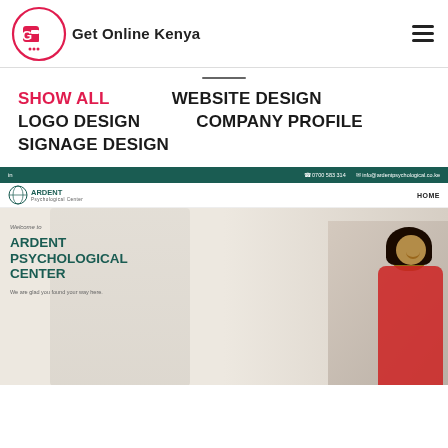[Figure (logo): Get Online Kenya logo with circular G icon and text]
SHOW ALL
WEBSITE DESIGN
LOGO DESIGN
COMPANY PROFILE
SIGNAGE DESIGN
[Figure (screenshot): Screenshot of Ardent Psychological Center website with teal header bar, logo, HOME navigation, WhatsApp bubble, hero section reading Welcome to ARDENT PSYCHOLOGICAL CENTER with blurred background person and smiling woman on right]